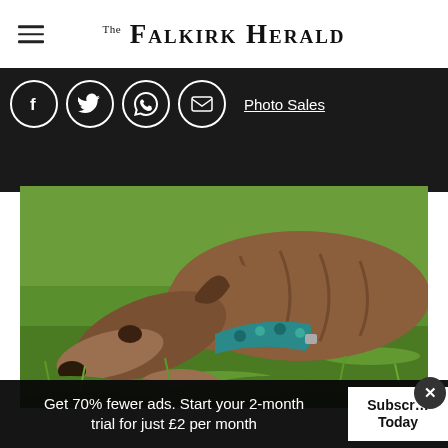The Falkirk Herald
[Figure (other): Social media sharing icons (Facebook, Twitter, WhatsApp, Email) on dark background with Photo Sales link]
[Figure (photo): A greyhound dog with a decorative teal/blue collar lying on green grass, head lowered to ground]
Get 70% fewer ads. Start your 2-month trial for just £2 per month
Subscribe Today